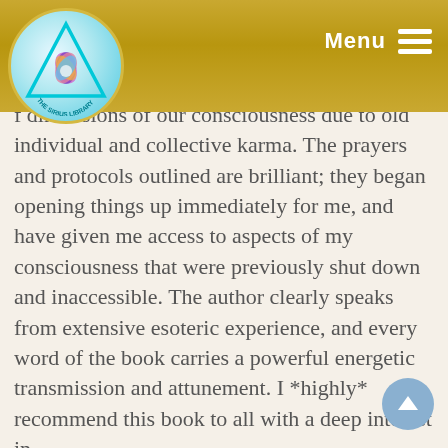[Figure (logo): The Sirius Library logo — a circular emblem with a teal/cyan background, a triangle outline, a lotus flower in the center with multicolored petals, and text around the bottom reading 'THE SIRIUS LIBRARY']
Menu
f dimensions of our consciousness due to old individual and collective karma. The prayers and protocols outlined are brilliant; they began opening things up immediately for me, and have given me access to aspects of my consciousness that were previously shut down and inaccessible. The author clearly speaks from extensive esoteric experience, and every word of the book carries a powerful energetic transmission and attunement. I *highly* recommend this book to all with a deep interest in...